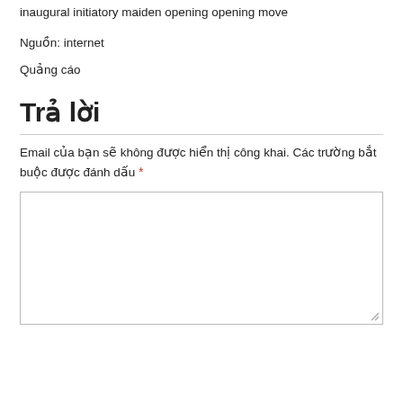inaugural initiatory maiden opening opening move
Nguồn: internet
Quảng cáo
Trả lời
Email của bạn sẽ không được hiển thị công khai. Các trường bắt buộc được đánh dấu *